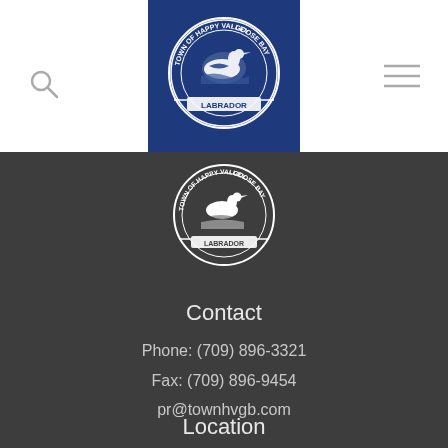[Figure (logo): Town of Happy Valley Goose Bay Labrador seal/crest on blue background in header]
[Figure (logo): Town of Happy Valley Goose Bay Labrador seal/crest on dark footer background]
Contact
Phone: (709) 896-3321
Fax: (709) 896-9454
pr@townhvgb.com
Location